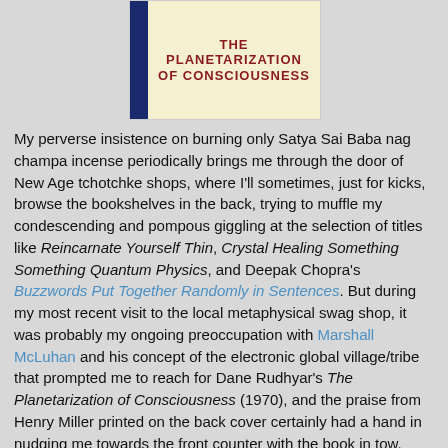[Figure (illustration): Book cover of 'The Planetarization of Consciousness' with a dark blue spine on the left and red bold title text on a cream/yellow background]
My perverse insistence on burning only Satya Sai Baba nag champa incense periodically brings me through the door of New Age tchotchke shops, where I'll sometimes, just for kicks, browse the bookshelves in the back, trying to muffle my condescending and pompous giggling at the selection of titles like Reincarnate Yourself Thin, Crystal Healing Something Something Quantum Physics, and Deepak Chopra's Buzzwords Put Together Randomly in Sentences. But during my most recent visit to the local metaphysical swag shop, it was probably my ongoing preoccupation with Marshall McLuhan and his concept of the electronic global village/tribe that prompted me to reach for Dane Rudhyar's The Planetarization of Consciousness (1970), and the praise from Henry Miller printed on the back cover certainly had a hand in nudging me towards the front counter with the book in tow.
I'm not sure what I was expecting from Rudhyar, and that was part of his allure—sometimes it does the dour materialist good to hear out the exultant spiritualist, if only to argue with him in the margins of his book.